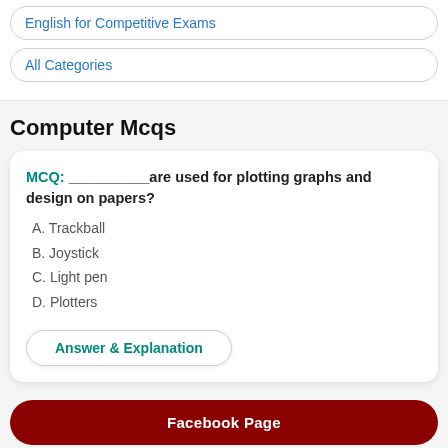English for Competitive Exams
All Categories
Computer Mcqs
MCQ: __________are used for plotting graphs and design on papers?
A. Trackball
B. Joystick
C. Light pen
D. Plotters
Answer & Explanation
Facebook Page